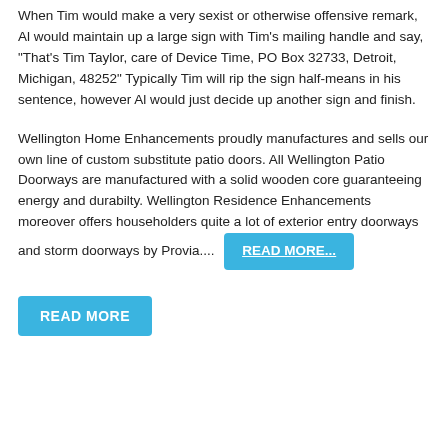When Tim would make a very sexist or otherwise offensive remark, Al would maintain up a large sign with Tim's mailing handle and say, “That’s Tim Taylor, care of Device Time, PO Box 32733, Detroit, Michigan, 48252” Typically Tim will rip the sign half-means in his sentence, however Al would just decide up another sign and finish.
Wellington Home Enhancements proudly manufactures and sells our own line of custom substitute patio doors. All Wellington Patio Doorways are manufactured with a solid wooden core guaranteeing energy and durabilty. Wellington Residence Enhancements moreover offers householders quite a lot of exterior entry doorways and storm doorways by Provia.... READ MORE...
READ MORE